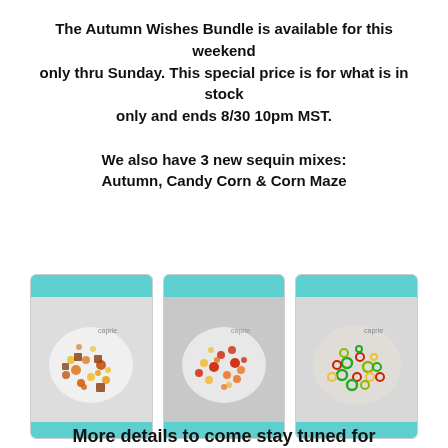The Autumn Wishes Bundle is available for this weekend only thru Sunday. This special price is for what is in stock only and ends 8/30 10pm MST.

We also have 3 new sequin mixes: Autumn, Candy Corn & Corn Maze
[Figure (photo): Three product photos of sequin mixes in small bowls/plates. Left: Autumn mix with browns, yellows, oranges. Center: Candy Corn mix with reds, oranges, golds. Right: Corn Maze mix with greens, reds, yellows.]
More details to come stay tuned for